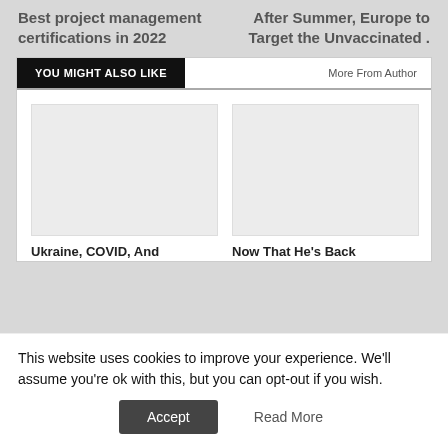Best project management certifications in 2022
After Summer, Europe to Target the Unvaccinated .
YOU MIGHT ALSO LIKE
More From Author
[Figure (photo): Placeholder image for article 1]
Ukraine, COVID, And
[Figure (photo): Placeholder image for article 2]
Now That He's Back
This website uses cookies to improve your experience. We'll assume you're ok with this, but you can opt-out if you wish.
Accept
Read More